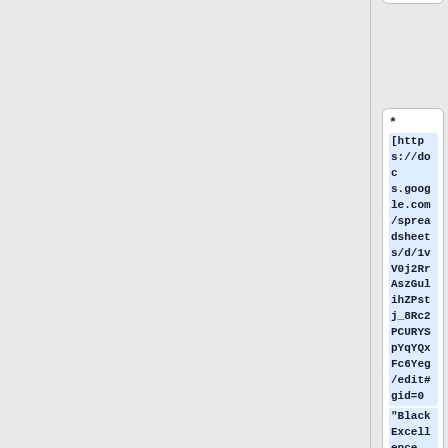M resources]
* [https://docs.google.com/spreadsheets/d/1vV0j2RrAszGulihZPstj_8Rc2PCURYSpYqYQxFc6Yeg/edit#gid=0 "Black Excellence LIS Syllabus"] T-Kay Sangwand, et al
* [https://www.bnfiedler.c...